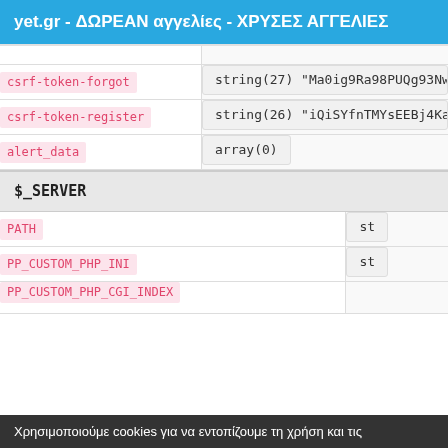yet.gr - ΔΩΡΕΑΝ αγγελίες - ΧΡΥΣΕΣ ΑΓΓΕΛΙΕΣ
| Key | Value |
| --- | --- |
| csrf-token-forgot | string(27) "Ma0ig9Ra98PUQg93Nwt..." |
| csrf-token-register | string(26) "iQiSYfnTMYsEEBj4KaY..." |
| alert_data | array(0) |
$_SERVER
| Key | Value |
| --- | --- |
| PATH | st... |
| PP_CUSTOM_PHP_INI | st... |
| PP_CUSTOM_PHP_CGI_INDEX |  |
Χρησιμοποιούμε cookies για να εντοπίζουμε τη χρήση και τις